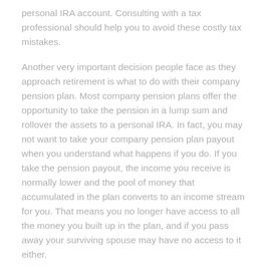personal IRA account. Consulting with a tax professional should help you to avoid these costly tax mistakes.
Another very important decision people face as they approach retirement is what to do with their company pension plan. Most company pension plans offer the opportunity to take the pension in a lump sum and rollover the assets to a personal IRA. In fact, you may not want to take your company pension plan payout when you understand what happens if you do. If you take the pension payout, the income you receive is normally lower and the pool of money that accumulated in the plan converts to an income stream for you. That means you no longer have access to all the money you built up in the plan, and if you pass away your surviving spouse may have no access to it either.
By moving your company pension to a personal IRA, you will possibly receive more monthly income for yourself and provide your spouse with greater income should you pass away.